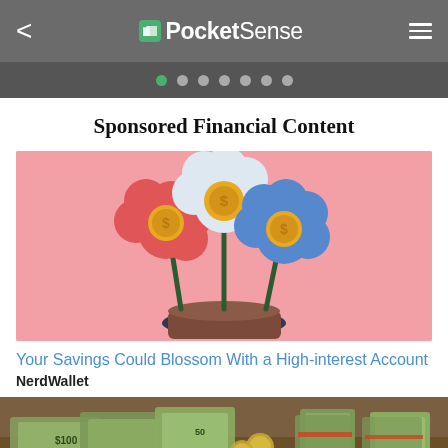PocketSense
Sponsored Financial Content
[Figure (illustration): Illustration of three flowers (red, white, blue) with dollar coin centers growing from a pot, on a pink background]
Your Savings Could Blossom With a High-interest Account
NerdWallet
[Figure (photo): Photo of stacked US dollar bills and bundled cash on a wooden surface]